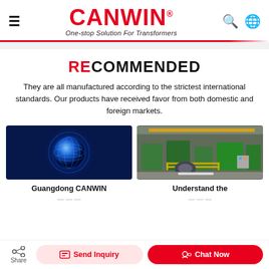CANWIN® — One-stop Solution For Transformers
RECOMMENDED
They are all manufactured according to the strictest international standards. Our products have received favor from both domestic and foreign markets.
[Figure (photo): Blue glowing globe illustration on dark background]
[Figure (photo): Industrial factory floor with green machinery and transformer equipment]
Guangdong CANWIN
Understand the